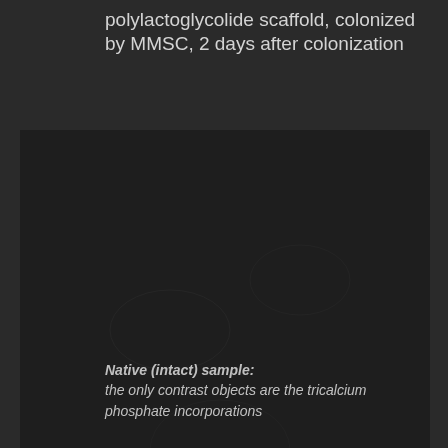polylactoglycolide scaffold, colonized by MMSC, 2 days after colonization
[Figure (photo): Dark microscopy/imaging photo of a polylactoglycolide scaffold colonized by MMSC, 2 days after colonization. The image is mostly dark with subtle structural details visible.]
Native (intact) sample: the only contrast objects are the tricalcium phosphate incorporations